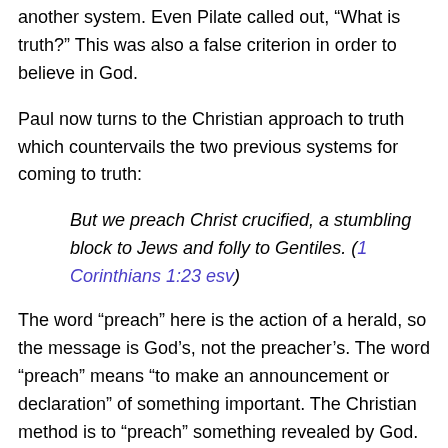another system. Even Pilate called out, “What is truth?” This was also a false criterion in order to believe in God.
Paul now turns to the Christian approach to truth which countervails the two previous systems for coming to truth:
But we preach Christ crucified, a stumbling block to Jews and folly to Gentiles. (1 Corinthians 1:23 esv)
The word “preach” here is the action of a herald, so the message is God’s, not the preacher’s. The word “preach” means “to make an announcement or declaration” of something important. The Christian method is to “preach” something revealed by God.